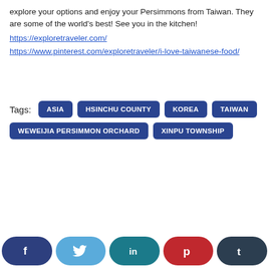explore your options and enjoy your Persimmons from Taiwan. They are some of the world's best! See you in the kitchen!
https://exploretraveler.com/
https://www.pinterest.com/exploretraveler/i-love-taiwanese-food/
Tags: ASIA  HSINCHU COUNTY  KOREA  TAIWAN  WEWEIJIA PERSIMMON ORCHARD  XINPU TOWNSHIP
[Figure (infographic): Social media share buttons: Facebook (dark blue), Twitter (light blue), LinkedIn (teal), Pinterest (red), Tumblr (dark navy)]